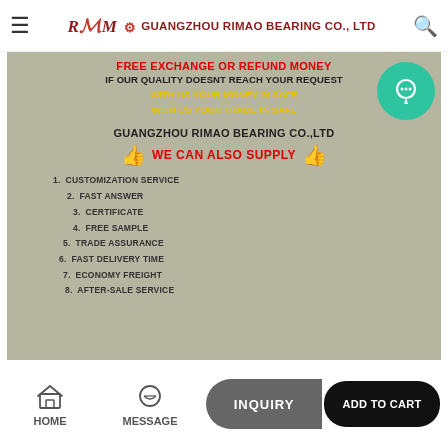RIMAO ⚙ GUANGZHOU RIMAO BEARING CO., LTD
[Figure (infographic): Promotional infographic for Guangzhou Rimao Bearing Co., Ltd on a grey-beige background. Text reads: FREE EXCHANGE OR REFUND MONEY (red, bold), IF OUR QUALITY DOESNT REACH YOUR REQUEST (black, bold), WITH US YOUR MONEY IN SAFE (yellow, bold), WITH US YOUR TRADE IN SAFE (yellow, bold), GUANGZHOU RIMAO BEARING CO.,LTD (black, bold), thumbs-up emoji WE CAN ALSO SUPPLY thumbs-up emoji (red bold), followed by numbered list: 1. CUSTOMIZATION SERVICE, 2. FAST ANSWER, 3. CERTIFICATE, 4. FREE SAMPLE, 5. TRADE ASSURANCE, 6. FAST DELIVERY TIME, 7. ECONOMY FREIGHT, 8. AFTER-SALE SERVICE. A teal circle with headset icon is in the top right corner.]
HOME | MESSAGE | INQUIRY | ADD TO CART